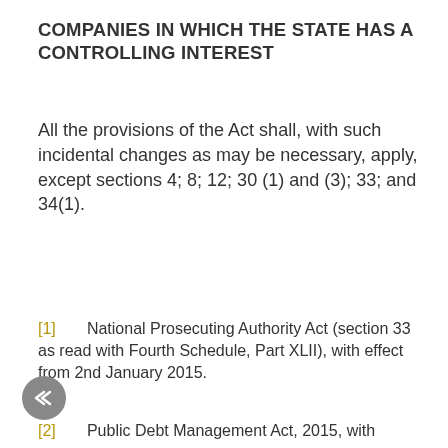COMPANIES IN WHICH THE STATE HAS A CONTROLLING INTEREST
All the provisions of the Act shall, with such incidental changes as may be necessary, apply, except sections 4; 8; 12; 30 (1) and (3); 33; and 34(1).
[1]       National Prosecuting Authority Act (section 33 as read with Fourth Schedule, Part XLII), with effect from 2nd January 2015.
[2]        Public Debt Management Act, 2015, with